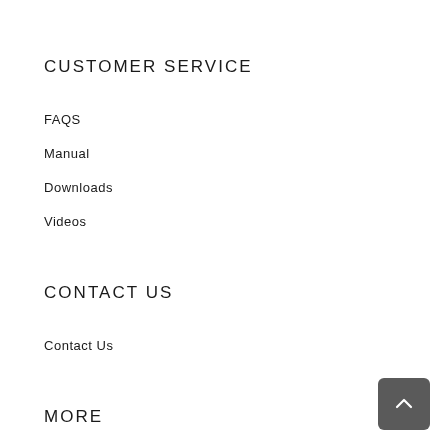CUSTOMER SERVICE
FAQS
Manual
Downloads
Videos
CONTACT US
Contact Us
MORE